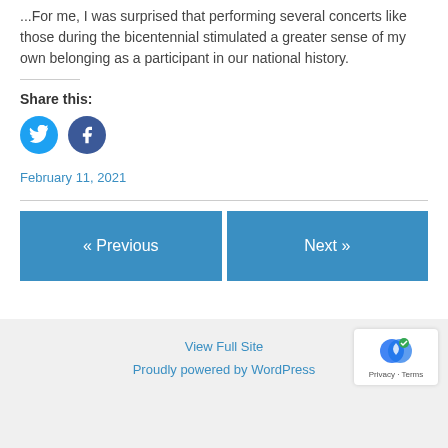...For me, I was surprised that performing several concerts like those during the bicentennial stimulated a greater sense of my own belonging as a participant in our national history.
Share this:
[Figure (illustration): Twitter and Facebook social sharing icons — cyan Twitter bird circle and dark blue Facebook 'f' circle]
February 11, 2021
« Previous
Next »
View Full Site
Proudly powered by WordPress
[Figure (logo): reCAPTCHA badge with Privacy and Terms links]